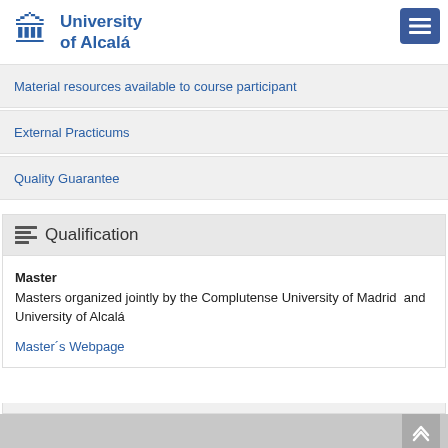University of Alcalá
Material resources available to course participant
External Practicums
Quality Guarantee
Qualification
Master
Masters organized jointly by the Complutense University of Madrid  and University of Alcalá
Master´s Webpage